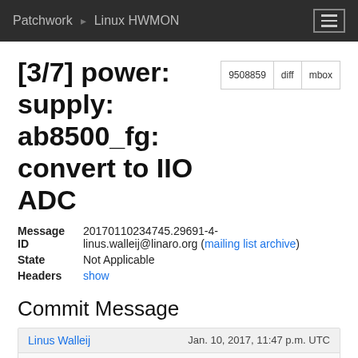Patchwork   Linux HWMON
[3/7] power: supply: ab8500_fg: convert to IIO ADC
| Field | Value |
| --- | --- |
| Message ID | 20170110234745.29691-4-linus.walleij@linaro.org (mailing list archive) |
| State | Not Applicable |
| Headers | show |
Commit Message
Linus Walleij   Jan. 10, 2017, 11:47 p.m. UTC
This switches the AB8500 fuel gauge driver to using the standard IIO ADC channel lookup and conversion r